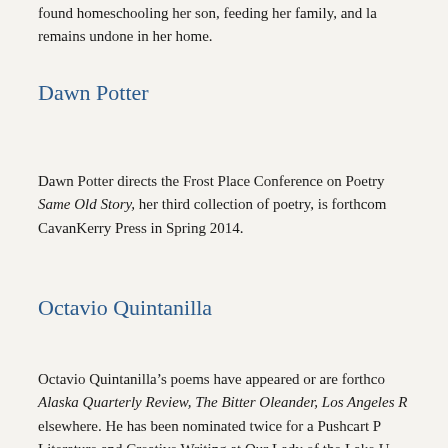found homeschooling her son, feeding her family, and la remains undone in her home.
Dawn Potter
Dawn Potter directs the Frost Place Conference on Poetry Same Old Story, her third collection of poetry, is forthcom CavanKerry Press in Spring 2014.
Octavio Quintanilla
Octavio Quintanilla’s poems have appeared or are forthco Alaska Quarterly Review, The Bitter Oleander, Los Angeles R elsewhere. He has been nominated twice for a Pushcart P Literature and Creative Writing at Our Lady of the Lake U